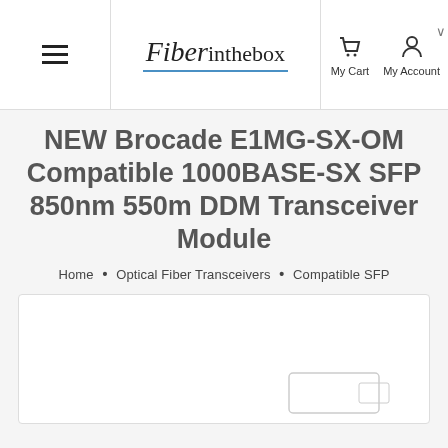Fiber in the box — My Cart, My Account
NEW Brocade E1MG-SX-OM Compatible 1000BASE-SX SFP 850nm 550m DDM Transceiver Module
Home • Optical Fiber Transceivers • Compatible SFP
[Figure (photo): Product image area showing partial view of a fiber optic transceiver module on white background]